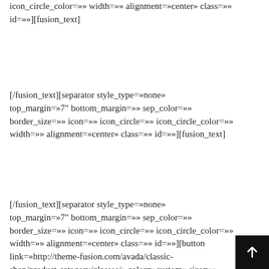icon_circle_color=»» width=»» alignment=»center» class=»» id=»»][fusion_text]
[/fusion_text][separator style_type=»none» top_margin=»7″ bottom_margin=»» sep_color=»» border_size=»» icon=»» icon_circle=»» icon_circle_color=»» width=»» alignment=»center» class=»» id=»»][fusion_text]
[/fusion_text][separator style_type=»none» top_margin=»7″ bottom_margin=»» sep_color=»» border_size=»» icon=»» icon_circle=»» icon_circle_color=»» width=»» alignment=»center» class=»» id=»»][button link=»http://theme-fusion.com/avada/classic-shop/product-category/glasses/» color=»custom» size=»»